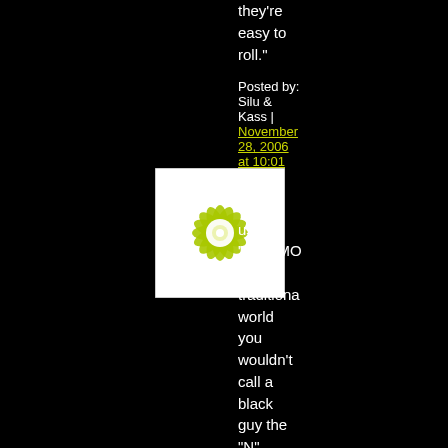they're easy to roll."
Posted by: Silu & Kass | November 28, 2006 at 10:01 PM
[Figure (illustration): Square avatar with yellow-green flower/snowflake geometric pattern on white background]
Stop calling us "ESKIMO in the traditional world you wouldn't call a black guy the "N" word in